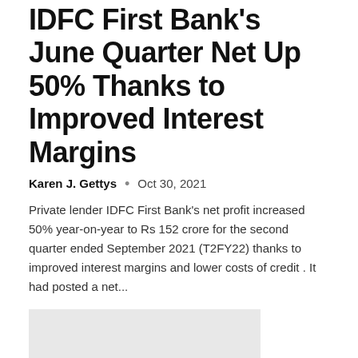IDFC First Bank's June Quarter Net Up 50% Thanks to Improved Interest Margins
Karen J. Gettys  •  Oct 30, 2021
Private lender IDFC First Bank's net profit increased 50% year-on-year to Rs 152 crore for the second quarter ended September 2021 (T2FY22) thanks to improved interest margins and lower costs of credit . It had posted a net...
[Figure (photo): Gray placeholder image block]
Five Ways Rising Interest Rates